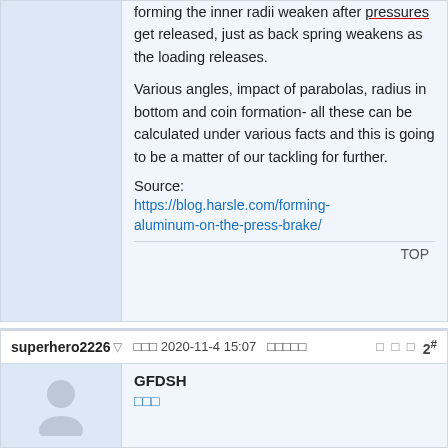forming the inner radii weaken after pressures get released, just as back spring weakens as the loading releases.
Various angles, impact of parabolas, radius in bottom and coin formation- all these can be calculated under various facts and this is going to be a matter of our tackling for further.
Source: https://blog.harsle.com/forming-aluminum-on-the-press-brake/
TOP
superhero2226
2020-11-4 15:07
2#
GFDSH
□□□